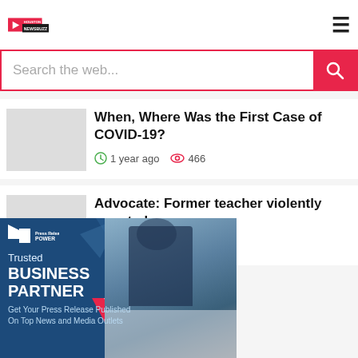HOUSTON NEWSBUZZ
Search the web...
When, Where Was the First Case of COVID-19?
1 year ago  466
Advocate: Former teacher violently arrested
1 year ago  432
[Figure (infographic): Press Release Power advertisement banner. Blue background with geometric diamond shapes. Text: 'Trusted BUSINESS PARTNER - Get Your Press Release Published On Top News and Media Outlets'. Photo of businessman in suit on right side. Red diagonal stripe accent.]